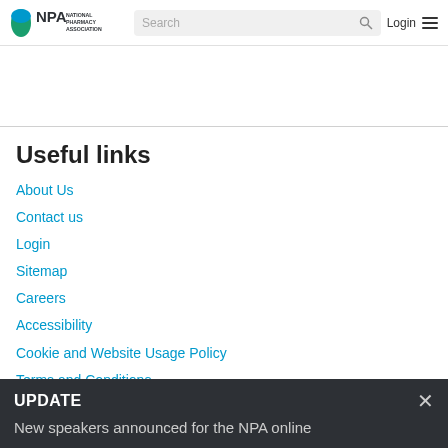NPA National Pharmacy Association | Search | Login
Useful links
About Us
Contact us
Login
Sitemap
Careers
Accessibility
Cookie and Website Usage Policy
Terms and Conditions
Data Protection Notice
UPDATE
New speakers announced for the NPA online